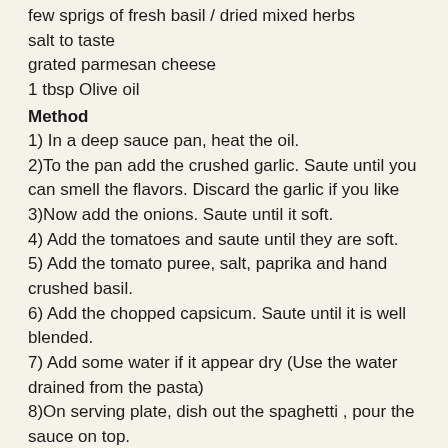few sprigs of fresh basil / dried mixed herbs
salt to taste
grated parmesan cheese
1 tbsp Olive oil
Method
1) In a deep sauce pan, heat the oil.
2)To the pan add the crushed garlic. Saute until you can smell the flavors. Discard the garlic if you like
3)Now add the onions. Saute until it soft.
4) Add the tomatoes and saute until they are soft.
5) Add the tomato puree, salt, paprika and hand crushed basil.
6) Add the chopped capsicum. Saute until it is well blended.
7) Add some water if it appear dry (Use the water drained from the pasta)
8)On serving plate, dish out the spaghetti , pour the sauce on top.
9) Grate some parmesan cheese. Serve hot
Serve garlic toast along side.